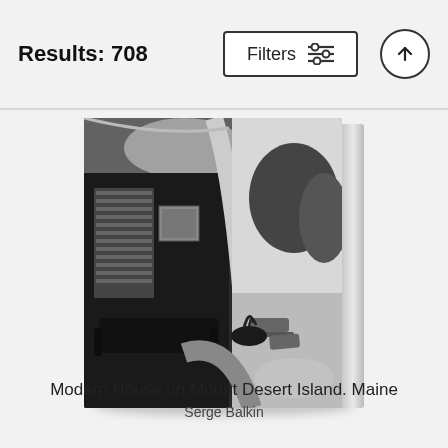Results: 708
Filters
[Figure (photo): Black and white photograph displayed as a book cover. The image shows the interior of a modernist house looking through large curved glass windows to an outdoor terrace with lounge chairs and trees. A bookshelf, artwork, and curved wooden surfaces are visible inside. A small potted plant sits on the windowsill. The book is shown in a 3D perspective with a visible spine.]
Modern House on Mount Desert Island. Maine
Serge Balkin